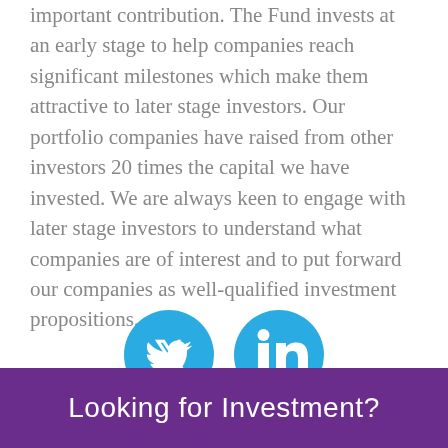important contribution. The Fund invests at an early stage to help companies reach significant milestones which make them attractive to later stage investors. Our portfolio companies have raised from other investors 20 times the capital we have invested. We are always keen to engage with later stage investors to understand what companies are of interest and to put forward our companies as well-qualified investment propositions.
[Figure (infographic): Two circular social media icons side by side: a Twitter bird icon and a LinkedIn 'in' icon, both in teal/blue color]
Looking for Investment?